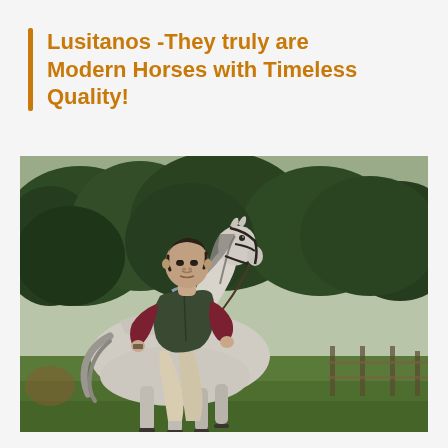Lusitanos -They truly are Modern Horses with Timeless Quality!
[Figure (photo): A man wearing a dark green vest and burgundy sweater riding a white/grey Lusitano horse outdoors, with green trees and a fence in the background. The horse has a dark bridle and the rider holds the reins.]